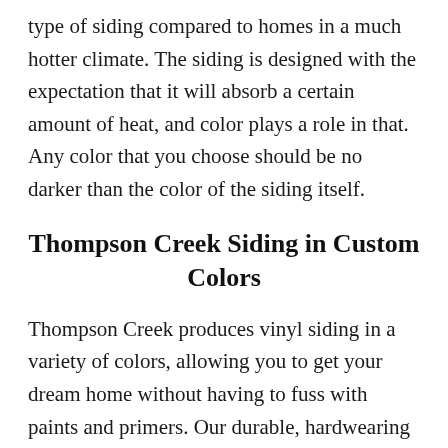type of siding compared to homes in a much hotter climate. The siding is designed with the expectation that it will absorb a certain amount of heat, and color plays a role in that. Any color that you choose should be no darker than the color of the siding itself.
Thompson Creek Siding in Custom Colors
Thompson Creek produces vinyl siding in a variety of colors, allowing you to get your dream home without having to fuss with paints and primers. Our durable, hardwearing siding is built to last, improve energy efficiency and designed with the local climate in mind.